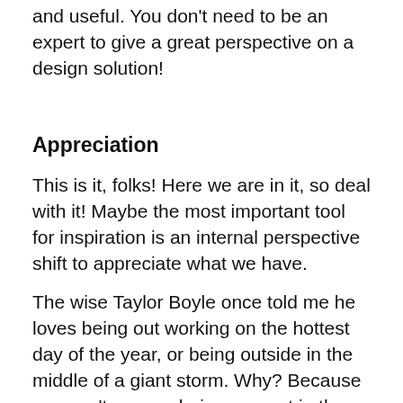question about a design, so they can feel valued and useful. You don't need to be an expert to give a great perspective on a design solution!
Appreciation
This is it, folks! Here we are in it, so deal with it! Maybe the most important tool for inspiration is an internal perspective shift to appreciate what we have.
The wise Taylor Boyle once told me he loves being out working on the hottest day of the year, or being outside in the middle of a giant storm. Why? Because you can't escape being present in the moment and that is truly living. With the current pandemic, I don't mean to be